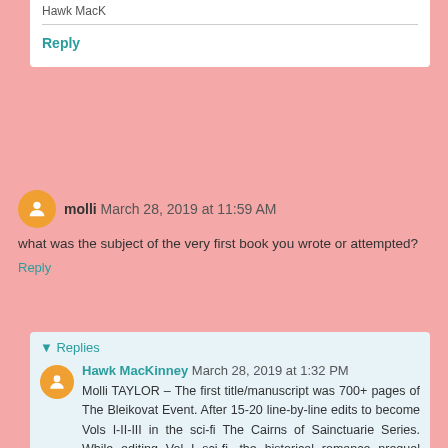Hawk MacK
Reply
molli March 28, 2019 at 11:59 AM
what was the subject of the very first book you wrote or attempted?
Reply
Replies
Hawk MacKinney March 28, 2019 at 1:32 PM
Molli TAYLOR – The first title/manuscript was 700+ pages of The Bleikovat Event. After 15-20 line-by-line edits to become Vols I-II-III in the sci-fi The Cairns of Sainctuarie Series. While editing Vol I sci-fi, the historical romance prequel Moccasin Trace was trimmed down from 850+ pages...it's the family background of the serial protagonist. SEAL RL in Books I-IV of The